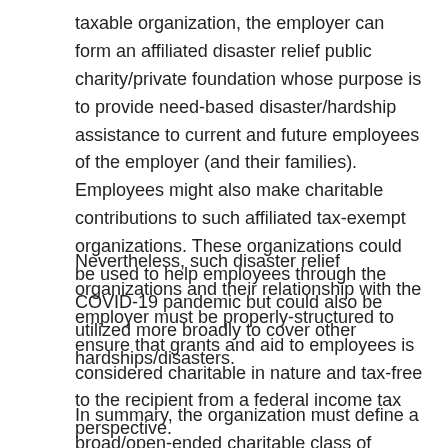taxable organization, the employer can form an affiliated disaster relief public charity/private foundation whose purpose is to provide need-based disaster/hardship assistance to current and future employees of the employer (and their families). Employees might also make charitable contributions to such affiliated tax-exempt organizations. These organizations could be used to help employees through the COVID-19 pandemic but could also be utilized more broadly to cover other hardships/disasters.
Nevertheless, such disaster relief organizations and their relationship with the employer must be properly-structured to ensure that grants and aid to employees is considered charitable in nature and tax-free to the recipient from a federal income tax perspective.
In summary, the organization must define a broad/open-ended charitable class of potential aid recipients (e.g.,